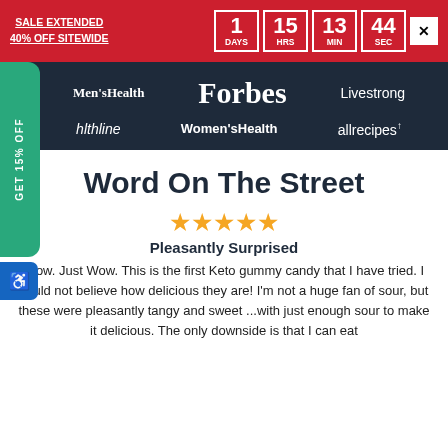SALE EXTENDED
40% OFF SITEWIDE
1 DAYS  15 HRS  13 MIN  44 SEC
[Figure (logo): Media press logos: Men's Health, Forbes, Livestrong, Healthline, Women's Health, allrecipes]
Word On The Street
★★★★★
Pleasantly Surprised
Wow. Just Wow. This is the first Keto gummy candy that I have tried. I could not believe how delicious they are! I'm not a huge fan of sour, but these were pleasantly tangy and sweet ...with just enough sour to make it delicious. The only downside is that I can eat